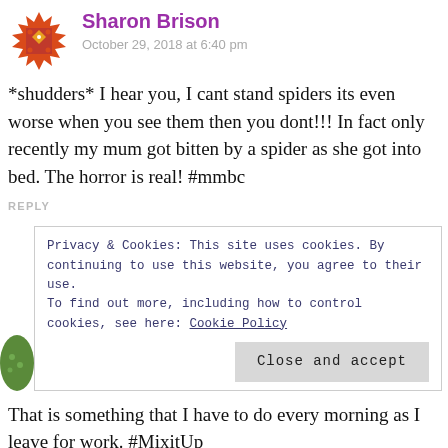Sharon Brison
October 29, 2018 at 6:40 pm
*shudders* I hear you, I cant stand spiders its even worse when you see them then you dont!!! In fact only recently my mum got bitten by a spider as she got into bed. The horror is real! #mmbc
REPLY
Privacy & Cookies: This site uses cookies. By continuing to use this website, you agree to their use.
To find out more, including how to control cookies, see here: Cookie Policy
Close and accept
That is something that I have to do every morning as I leave for work. #MixitUp